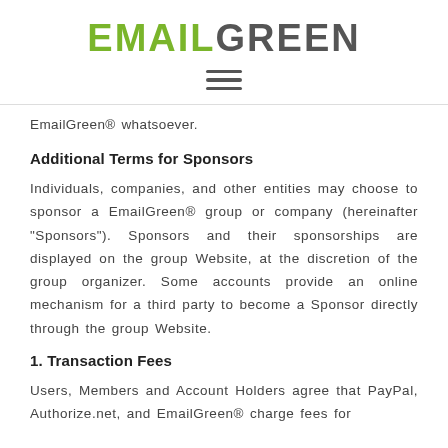EMAILGREEN
EmailGreen® whatsoever.
Additional Terms for Sponsors
Individuals, companies, and other entities may choose to sponsor a EmailGreen® group or company (hereinafter "Sponsors"). Sponsors and their sponsorships are displayed on the group Website, at the discretion of the group organizer. Some accounts provide an online mechanism for a third party to become a Sponsor directly through the group Website.
1. Transaction Fees
Users, Members and Account Holders agree that PayPal, Authorize.net, and EmailGreen® charge fees for